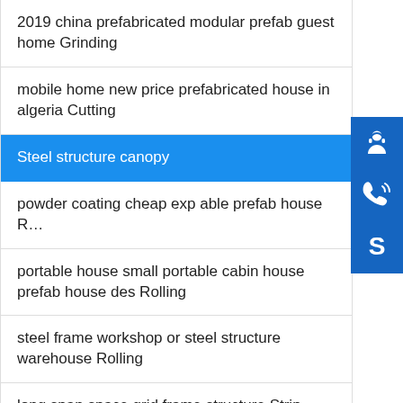2019 china prefabricated modular prefab guest home Grinding
mobile home new price prefabricated house in algeria Cutting
Steel structure canopy
powder coating cheap exp able prefab house R…
portable house small portable cabin house prefab house des Rolling
steel frame workshop or steel structure warehouse Rolling
long span space grid frame structure Strip surfacing